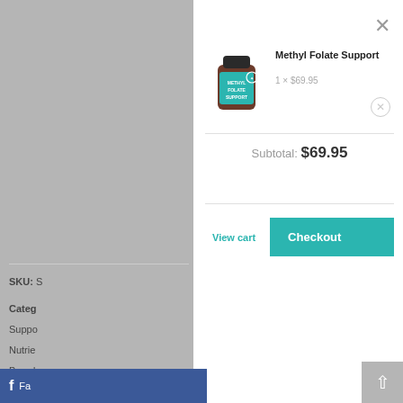[Figure (screenshot): Shopping cart modal overlay on an e-commerce product page. Shows a product (Methyl Folate Support supplement bottle), quantity and price (1 × $69.95), subtotal ($69.95), View cart and Checkout buttons. Background shows partially visible website content including SKU, Category, Brand labels.]
Methyl Folate Support
1 × $69.95
Subtotal: $69.95
View cart
Checkout
SKU: S
Categ
Suppo
Nutrie
Brand